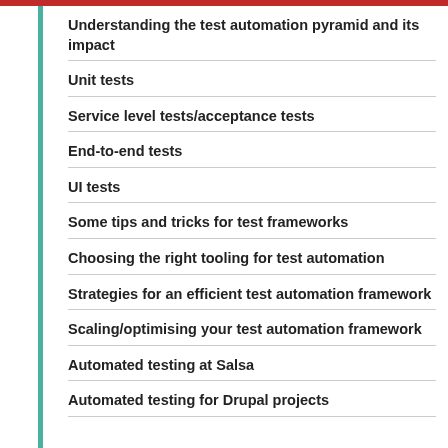Understanding the test automation pyramid and its impact
Unit tests
Service level tests/acceptance tests
End-to-end tests
UI tests
Some tips and tricks for test frameworks
Choosing the right tooling for test automation
Strategies for an efficient test automation framework
Scaling/optimising your test automation framework
Automated testing at Salsa
Automated testing for Drupal projects